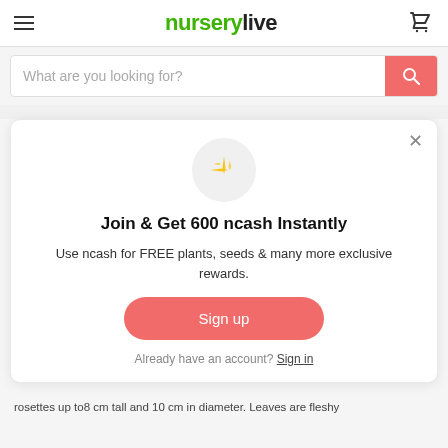nurserylive
[Figure (screenshot): Search bar with placeholder text 'What are you looking for?' and a coral/red search button with magnifying glass icon]
[Figure (infographic): Modal popup: sparkle emoji icon in grey circle, title 'Join & Get 600 ncash Instantly', description about ncash rewards, Sign up button, and Sign in link]
rosettes up to8 cm tall and 10 cm in diameter. Leaves are fleshy